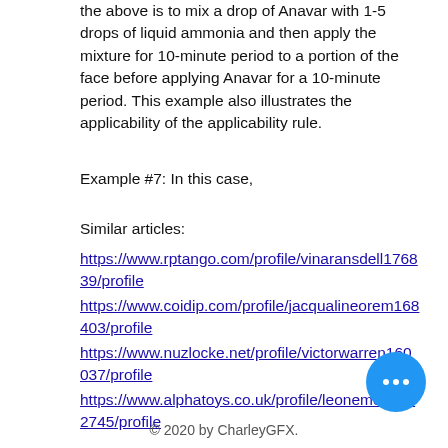the above is to mix a drop of Anavar with 1-5 drops of liquid ammonia and then apply the mixture for 10-minute period to a portion of the face before applying Anavar for a 10-minute period. This example also illustrates the applicability of the applicability rule.
Example #7: In this case,
Similar articles:
https://www.rptango.com/profile/vinaransdell176839/profile https://www.coidip.com/profile/jacqualineorem168403/profile https://www.nuzlocke.net/profile/victorwarren160037/profile https://www.alphatoys.co.uk/profile/leonemortell52745/profile
© 2020 by CharleyGFX.